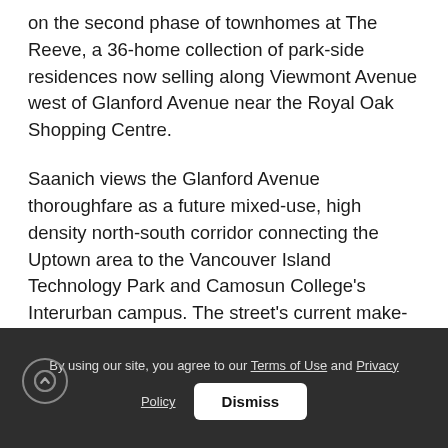on the second phase of townhomes at The Reeve, a 36-home collection of park-side residences now selling along Viewmont Avenue west of Glanford Avenue near the Royal Oak Shopping Centre.
Saanich views the Glanford Avenue thoroughfare as a future mixed-use, high density north-south corridor connecting the Uptown area to the Vancouver Island Technology Park and Camosun College's Interurban campus. The street's current make-up includes a mix of single family residences, schools, industrial lands and retail amenities. C
By using our site, you agree to our Terms of Use and Privacy Policy   Dismiss